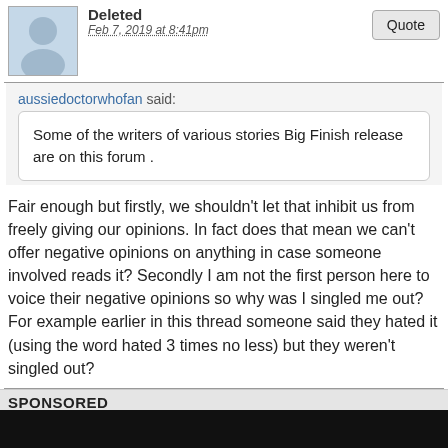Deleted
Feb 7, 2019 at 8:41pm
aussiedoctorwhofan said:
Some of the writers of various stories Big Finish release are on this forum .
Fair enough but firstly, we shouldn't let that inhibit us from freely giving our opinions. In fact does that mean we can't offer negative opinions on anything in case someone involved reads it? Secondly I am not the first person here to voice their negative opinions so why was I singled me out? For example earlier in this thread someone said they hated it (using the word hated 3 times no less) but they weren't singled out?
SPONSORED
aussiedoctorwhofan
Moderator
Feb 7, 2019 at 8:48pm
Ela likes this